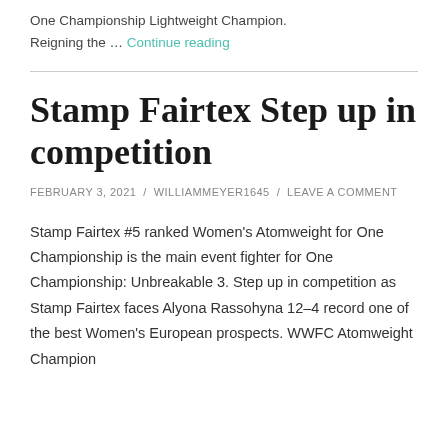One Championship Lightweight Champion. Reigning the ... Continue reading
Stamp Fairtex Step up in competition
FEBRUARY 3, 2021 / WILLIAMMEYER1645 / LEAVE A COMMENT
Stamp Fairtex #5 ranked Women's Atomweight for One Championship is the main event fighter for One Championship: Unbreakable 3. Step up in competition as Stamp Fairtex faces Alyona Rassohyna 12-4 record one of the best Women's European prospects. WWFC Atomweight Champion